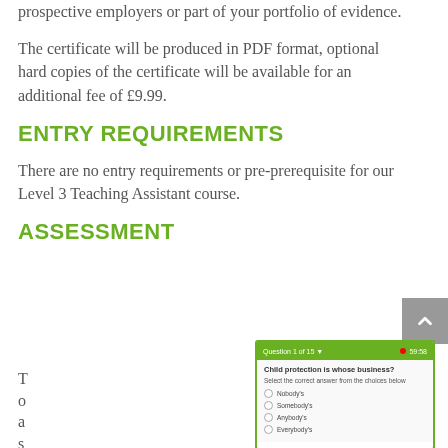prospective employers or part of your portfolio of evidence.
The certificate will be produced in PDF format, optional hard copies of the certificate will be available for an additional fee of £9.99.
ENTRY REQUIREMENTS
There are no entry requirements or pre-prerequisite for our Level 3 Teaching Assistant course.
ASSESSMENT
[Figure (screenshot): Quiz interface screenshot showing a multiple choice question: 'Child protection is whose business?' with options Nobody's, Somebody's, Anybody's, Everybody's. Green bordered window with question counter 'Question 1 of 15' and timer '59:58'.]